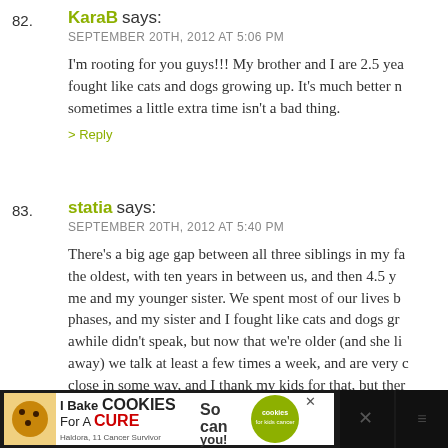82. KaraB says:
SEPTEMBER 20TH, 2012 AT 5:06 PM
I'm rooting for you guys!!! My brother and I are 2.5 yea... fought like cats and dogs growing up. It's much better n... sometimes a little extra time isn't a bad thing.
> Reply
83. statia says:
SEPTEMBER 20TH, 2012 AT 5:40 PM
There's a big age gap between all three siblings in my fa... the oldest, with ten years in between us, and then 4.5 y... me and my younger sister. We spent most of our lives b... phases, and my sister and I fought like cats and dogs gr... awhile didn't speak, but now that we're older (and she li... away) we talk at least a few times a week, and are very c... close in some way, and I thank my kids for that, but ther... patches, naturally. I wanted a sister so badly, but was al...
[Figure (screenshot): Advertisement banner for 'I Bake Cookies For A Cure' with Haldora, 11 Cancer Survivor, and 'So can you!' text with cookies for kids cancer logo]